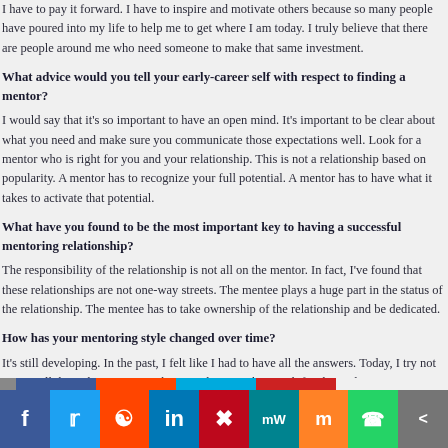I have to pay it forward. I have to inspire and motivate others because so many people have poured into my life to help me to get where I am today. I truly believe that there are people around me who need someone to make that same investment.
What advice would you tell your early-career self with respect to finding a mentor?
I would say that it's so important to have an open mind. It's important to be clear about what you need and make sure you communicate those expectations well. Look for a mentor who is right for you and your relationship. This is not a relationship based on popularity. A mentor has to recognize your full potential. A mentor has to have what it takes to activate that potential.
What have you found to be the most important key to having a successful mentoring relationship?
The responsibility of the relationship is not all on the mentor. In fact, I've found that these relationships are not one-way streets. The mentee plays a huge part in the status of the relationship. The mentee has to take ownership of the relationship and be dedicated.
How has your mentoring style changed over time?
It's still developing. In the past, I felt like I had to have all the answers. Today, I try not to give all the right answers so they can discover their truth for themselves.
[Figure (infographic): Social media sharing bar with icons for Facebook, Twitter, Reddit, LinkedIn, Pinterest, MeWe, Mix, WhatsApp, and Share buttons]